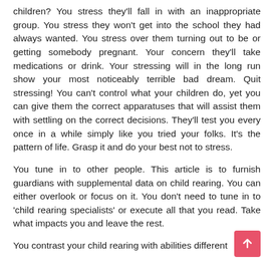children? You stress they'll fall in with an inappropriate group. You stress they won't get into the school they had always wanted. You stress over them turning out to be or getting somebody pregnant. Your concern they'll take medications or drink. Your stressing will in the long run show your most noticeably terrible bad dream. Quit stressing! You can't control what your children do, yet you can give them the correct apparatuses that will assist them with settling on the correct decisions. They'll test you every once in a while simply like you tried your folks. It's the pattern of life. Grasp it and do your best not to stress.
You tune in to other people. This article is to furnish guardians with supplemental data on child rearing. You can either overlook or focus on it. You don't need to tune in to 'child rearing specialists' or execute all that you read. Take what impacts you and leave the rest.
You contrast your child rearing with abilities different